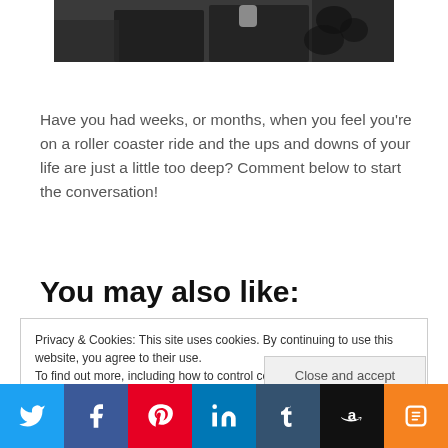[Figure (photo): Partial photo of two people in dark formal wear, cropped at the top of the page]
Have you had weeks, or months, when you feel you're on a roller coaster ride and the ups and downs of your life are just a little too deep? Comment below to start the conversation!
You may also like:
Privacy & Cookies: This site uses cookies. By continuing to use this website, you agree to their use.
To find out more, including how to control cookies, see here: Cookie Policy
Close and accept
[Figure (infographic): Social media share bar with Twitter, Facebook, Pinterest, LinkedIn, Tumblr, Amazon, and Quizlet buttons]